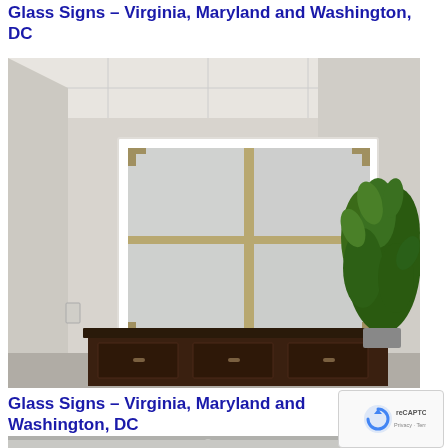Glass Signs – Virginia, Maryland and Washington, DC
[Figure (photo): Interior office photo showing frosted glass window panel with grid pattern dividers mounted on white wall above a dark wooden desk, with green plant on the right side]
Glass Signs – Virginia, Maryland and Washington, DC
[Figure (photo): Partial interior office photo showing tiled ceiling with recessed lighting]
[Figure (logo): Google reCAPTCHA badge with circular arrow logo and Privacy/Terms text]